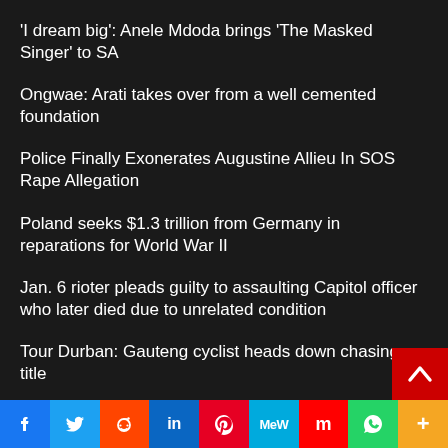'I dream big': Anele Mdoda brings 'The Masked Singer' to SA
Ongwae: Arati takes over from a well cemented foundation
Police Finally Exonerates Augustine Allieu In SOS Rape Allegation
Poland seeks $1.3 trillion from Germany in reparations for World War II
Jan. 6 rioter pleads guilty to assaulting Capitol officer who later died due to unrelated condition
Tour Durban: Gauteng cyclist heads down chasing title
SOAPIE UPDATE: House of Zwide
Defending URC champion Stormers hit the road
7de Laan: Watch tonight's episode, 01 September 20
[Figure (infographic): Social media sharing bar with icons: Facebook, Twitter, Reddit, LinkedIn, Pinterest, MeWe, Mix, WhatsApp, More]